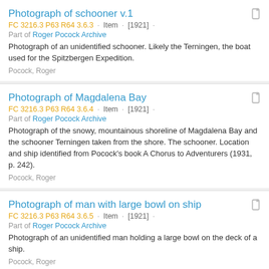Photograph of schooner v.1
FC 3216.3 P63 R64 3.6.3 · Item · [1921] ·
Part of Roger Pocock Archive
Photograph of an unidentified schooner. Likely the Terningen, the boat used for the Spitzbergen Expedition.
Pocock, Roger
Photograph of Magdalena Bay
FC 3216.3 P63 R64 3.6.4 · Item · [1921] ·
Part of Roger Pocock Archive
Photograph of the snowy, mountainous shoreline of Magdalena Bay and the schooner Terningen taken from the shore. The schooner. Location and ship identified from Pocock's book A Chorus to Adventurers (1931, p. 242).
Pocock, Roger
Photograph of man with large bowl on ship
FC 3216.3 P63 R64 3.6.5 · Item · [1921] ·
Part of Roger Pocock Archive
Photograph of an unidentified man holding a large bowl on the deck of a ship.
Pocock, Roger